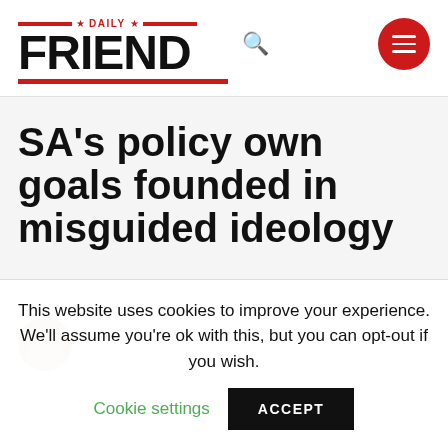[Figure (logo): Daily Friend website logo with red horizontal bars, star decorations, bold FRIEND text, and a search icon]
SA's policy own goals founded in misguided ideology
[Figure (photo): Partial circular author avatar photo at bottom of article area]
This website uses cookies to improve your experience. We'll assume you're ok with this, but you can opt-out if you wish.
Cookie settings
ACCEPT